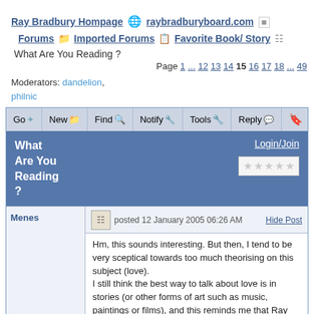Ray Bradbury Hompage | raybradburyboard.com | Forums | Imported Forums | Favorite Book/ Story
What Are You Reading ?
Page 1 ... 12 13 14 15 16 17 18 ... 49
Moderators: dandelion, philnic
Go | New | Find | Notify | Tools | Reply
What Are You Reading ?
Login/Join
Menes | posted 12 January 2005 06:26 AM | Hide Post
Hm, this sounds interesting. But then, I tend to be very sceptical towards too much theorising on this subject (love).
I still think the best way to talk about love is in stories (or other forms of art such as music, paintings or films), and this reminds me that Ray has been writing a whole bunch of amazing stories dealing with this